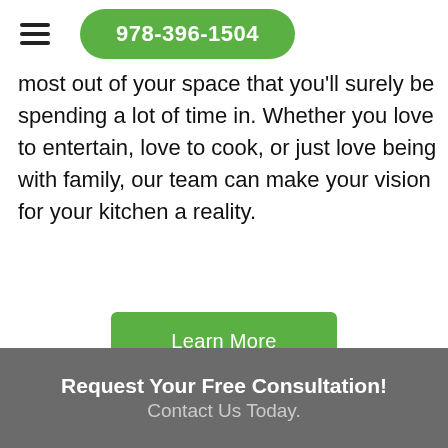978-396-1504
most out of your space that you'll surely be spending a lot of time in. Whether you love to entertain, love to cook, or just love being with family, our team can make your vision for your kitchen a reality.
Learn More
Request Your Free Consultation! Contact Us Today.